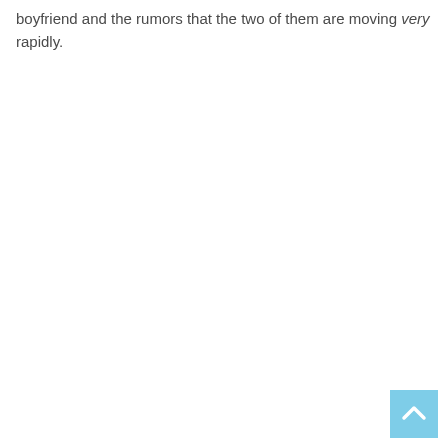boyfriend and the rumors that the two of them are moving very rapidly.
[Figure (other): Scroll-to-top button: a light blue square with a white upward-pointing chevron arrow in the bottom-right corner of the page.]